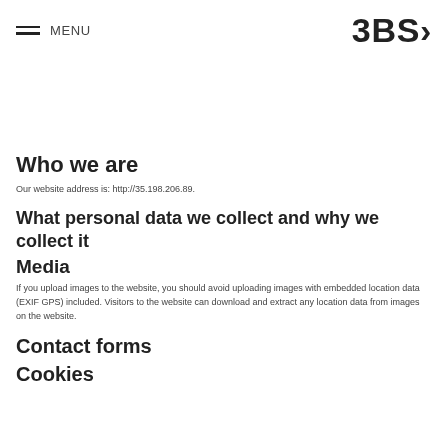MENU  3BS>
Who we are
Our website address is: http://35.198.206.89.
What personal data we collect and why we collect it
Media
If you upload images to the website, you should avoid uploading images with embedded location data (EXIF GPS) included. Visitors to the website can download and extract any location data from images on the website.
Contact forms
Cookies